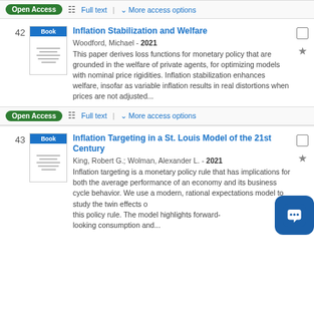Open Access | Full text | More access options
42 — Inflation Stabilization and Welfare. Woodford, Michael - 2021. This paper derives loss functions for monetary policy that are grounded in the welfare of private agents, for optimizing models with nominal price rigidities. Inflation stabilization enhances welfare, insofar as variable inflation results in real distortions when prices are not adjusted...
Open Access | Full text | More access options
43 — Inflation Targeting in a St. Louis Model of the 21st Century. King, Robert G.; Wolman, Alexander L. - 2021. Inflation targeting is a monetary policy rule that has implications for both the average performance of an economy and its business cycle behavior. We use a modern, rational expectations model to study the twin effects of this policy rule. The model highlights forward-looking consumption and...